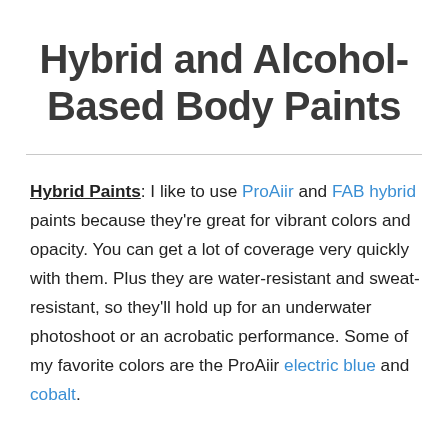Hybrid and Alcohol-Based Body Paints
Hybrid Paints: I like to use ProAiir and FAB hybrid paints because they're great for vibrant colors and opacity. You can get a lot of coverage very quickly with them. Plus they are water-resistant and sweat-resistant, so they'll hold up for an underwater photoshoot or an acrobatic performance. Some of my favorite colors are the ProAiir electric blue and cobalt.